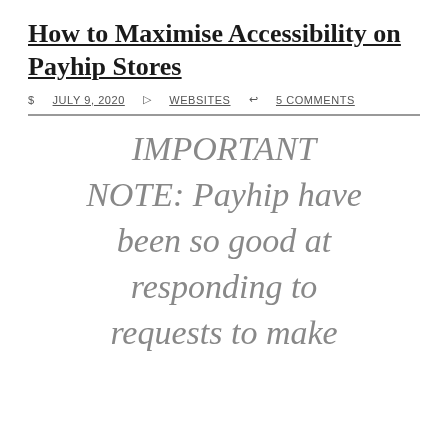How to Maximise Accessibility on Payhip Stores
© JULY 9, 2020  ▷ WEBSITES  ↩ 5 COMMENTS
IMPORTANT NOTE: Payhip have been so good at responding to requests to make